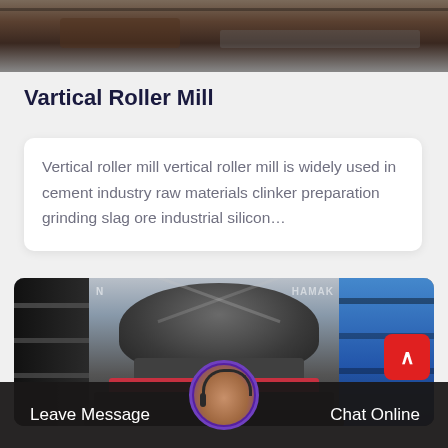[Figure (photo): Top partial photo of industrial mining/milling equipment, showing metal machinery components and conveyor.]
Vartical Roller Mill
Vertical roller mill vertical roller mill is widely used in cement industry raw materials clinker preparation grinding slag ore industrial silicon…
[Figure (photo): Industrial vertical roller mill machine in factory setting, large dark grey conical machine body with red accent base, blue scaffolding to the right, warehouse interior background.]
Leave Message
Chat Online